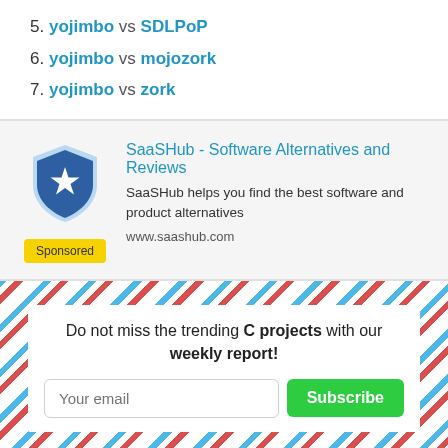5. yojimbo vs SDLPoP
6. yojimbo vs mojozork
7. yojimbo vs zork
[Figure (logo): SaaSHub shield logo with star, blue and light blue colors]
SaaSHub - Software Alternatives and Reviews
SaaSHub helps you find the best software and product alternatives
www.saashub.com
Sponsored
Do not miss the trending C projects with our weekly report!
Your email
Subscribe